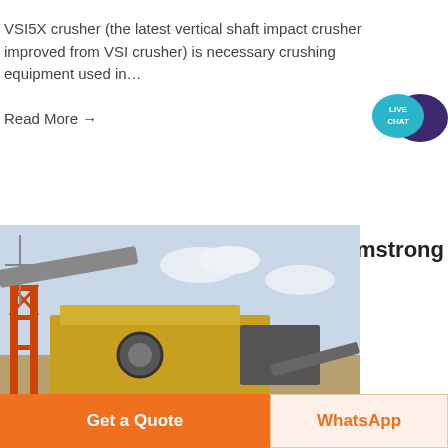VSI5X crusher (the latest vertical shaft impact crusher improved from VSI crusher) is necessary crushing equipment used in...
Read More →
[Figure (illustration): Live Chat widget with teal speech bubble and dark purple speech bubble, text LIVE CHAT]
Armstrong
[Figure (photo): Industrial crushing plant machinery with yellow structure, conveyor belts, and concrete pillars at an outdoor quarry site]
IndustriesArmstrong Industries
Get a Quote
WhatsApp